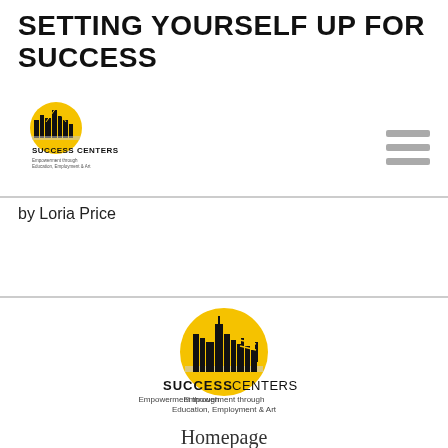SETTING YOURSELF UP FOR SUCCESS
[Figure (logo): Success Centers logo — small version: city skyline silhouette in black on yellow circle, text SUCCESS CENTERS, Empowerment through Education, Employment & Art]
by Loria Price
[Figure (logo): Success Centers logo — large version: city skyline silhouette (San Francisco) in black on yellow circle, text SUCCESS CENTERS bold, Empowerment through Education, Employment & Art]
Homepage